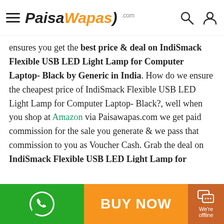PaisaWapas.com
ensures you get the best price & deal on IndiSmack Flexible USB LED Light Lamp for Computer Laptop- Black by Generic in India. How do we ensure the cheapest price of IndiSmack Flexible USB LED Light Lamp for Computer Laptop- Black?, well when you shop at Amazon via Paisawapas.com we get paid commission for the sale you generate & we pass that commission to you as Voucher Cash. Grab the deal on IndiSmack Flexible USB LED Light Lamp for Computer Laptop- Black by Generic via PaisaWapas.com at Amazon.
The latest price of IndiSmack Flexible USB LED Light Lamp for Computer Laptop- Black at Amazon is ₹99 and was last updated on Sep 13, 2021 4:51:08 PM IST